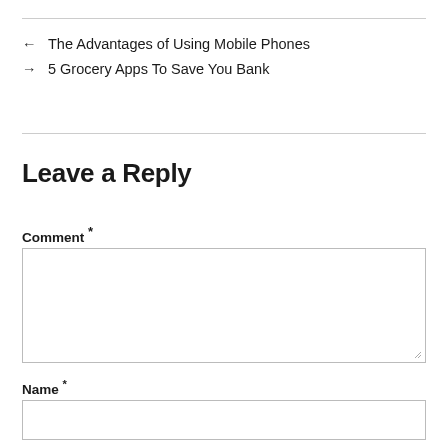← The Advantages of Using Mobile Phones
→ 5 Grocery Apps To Save You Bank
Leave a Reply
Comment *
Name *